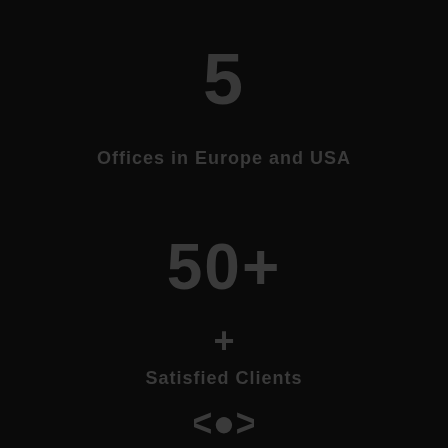5
Offices in Europe and USA
50+
+
Satisfied Clients
[Figure (illustration): Circular icon with a dot/target symbol]